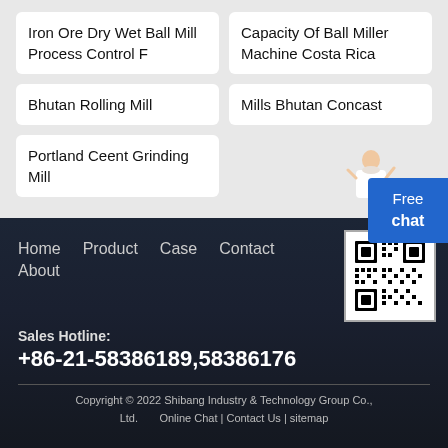Iron Ore Dry Wet Ball Mill Process Control F
Capacity Of Ball Miller Machine Costa Rica
Bhutan Rolling Mill
Mills Bhutan Concast
Portland Ceent Grinding Mill
[Figure (illustration): Woman in white shirt with hand gesturing, customer service avatar]
Free chat
Home   Product   Case   Contact   About
[Figure (other): QR code image]
Sales Hotline:
+86-21-58386189,58386176
Copyright © 2022 Shibang Industry & Technology Group Co., Ltd.   Online Chat | Contact Us | sitemap